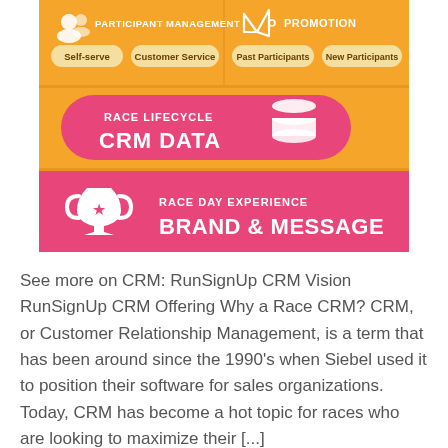[Figure (infographic): Infographic showing CRM features: Participant Management (Self-serve, Customer Service), Promotion (Past Participants, New Participants), Race Lifecycle CRM Data, Race Day Experience Brand & Message]
See more on CRM: RunSignUp CRM Vision RunSignUp CRM Offering Why a Race CRM? CRM, or Customer Relationship Management, is a term that has been around since the 1990's when Siebel used it to position their software for sales organizations. Today, CRM has become a hot topic for races who are looking to maximize their [...]